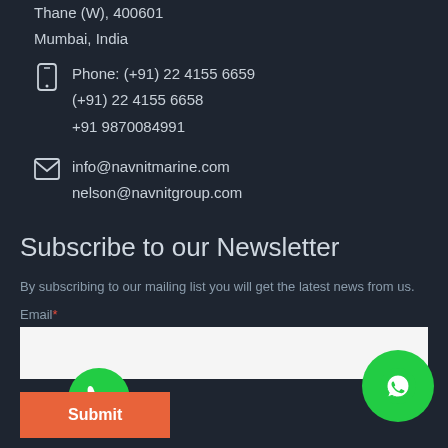Thane (W), 400601
Mumbai, India
Phone: (+91) 22 4155 6659
(+91) 22 4155 6658
+91 9870084991
info@navnitmarine.com
nelson@navnitgroup.com
Subscribe to our Newsletter
By subscribing to our mailing list you will get the latest news from us.
Email*
[Figure (other): Green phone call FAB button]
[Figure (other): Orange Submit button]
[Figure (other): Green WhatsApp FAB button]